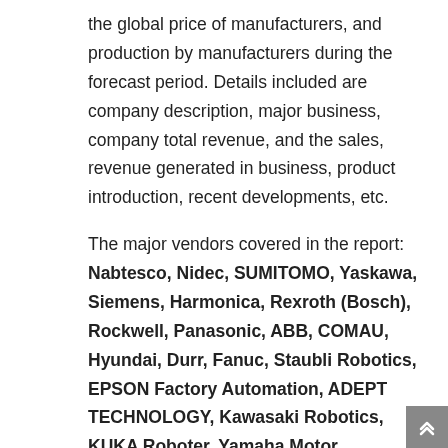the global price of manufacturers, and production by manufacturers during the forecast period. Details included are company description, major business, company total revenue, and the sales, revenue generated in business, product introduction, recent developments, etc.
The major vendors covered in the report: Nabtesco, Nidec, SUMITOMO, Yaskawa, Siemens, Harmonica, Rexroth (Bosch), Rockwell, Panasonic, ABB, COMAU, Hyundai, Durr, Fanuc, Staubli Robotics, EPSON Factory Automation, ADEPT TECHNOLOGY, Kawasaki Robotics, KUKA Roboter, Yamaha Motor Industrial Robots, Shanghai Mechanical and Electrical Industry, Nantong Zhenkang, Zhongda Leader Intelligent Transmission, Suzhou Tztek Technology, Shaanxi Qinchuan